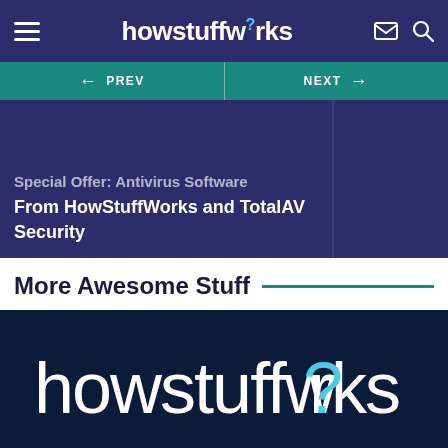howstuffworks
← PREV   NEXT →
Special Offer: Antivirus Software From HowStuffWorks and TotalAV Security
More Awesome Stuff
[Figure (logo): HowStuffWorks logo on dark navy background — lowercase white text 'howstuffworks' with blue question mark replacing the 'o' in 'works']
Get the HowStuffWorks Newsletter! Sign Up